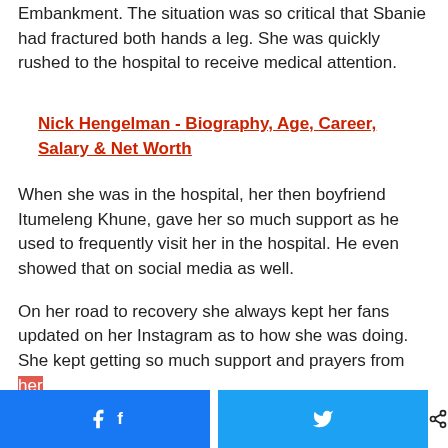Embankment. The situation was so critical that Sbanie had fractured both hands a leg. She was quickly rushed to the hospital to receive medical attention.
Nick Hengelman - Biography, Age, Career, Salary & Net Worth
When she was in the hospital, her then boyfriend Itumeleng Khune, gave her so much support as he used to frequently visit her in the hospital. He even showed that on social media as well.
On her road to recovery she always kept her fans updated on her Instagram as to how she was doing. She kept getting so much support and prayers from her
0 SHARES